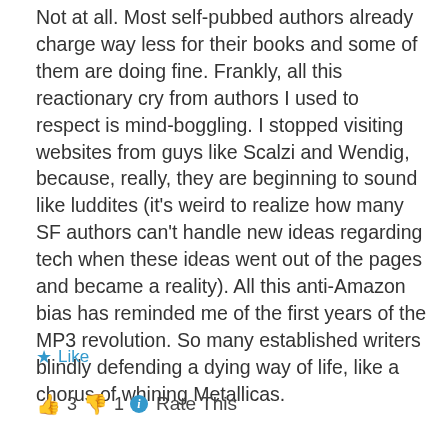Not at all. Most self-pubbed authors already charge way less for their books and some of them are doing fine. Frankly, all this reactionary cry from authors I used to respect is mind-boggling. I stopped visiting websites from guys like Scalzi and Wendig, because, really, they are beginning to sound like luddites (it's weird to realize how many SF authors can't handle new ideas regarding tech when these ideas went out of the pages and became a reality). All this anti-Amazon bias has reminded me of the first years of the MP3 revolution. So many established writers blindly defending a dying way of life, like a chorus of whining Metallicas.
Like
👍 3 👎 1 ℹ Rate This